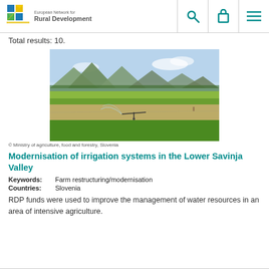European Network for Rural Development
Total results: 10.
[Figure (photo): Agricultural field with irrigation sprinkler equipment, green grass in foreground, mountains and sky in background.]
© Ministry of agriculture, food and forestry, Slovenia
Modernisation of irrigation systems in the Lower Savinja Valley
Keywords: Farm restructuring/modernisation
Countries: Slovenia
RDP funds were used to improve the management of water resources in an area of intensive agriculture.